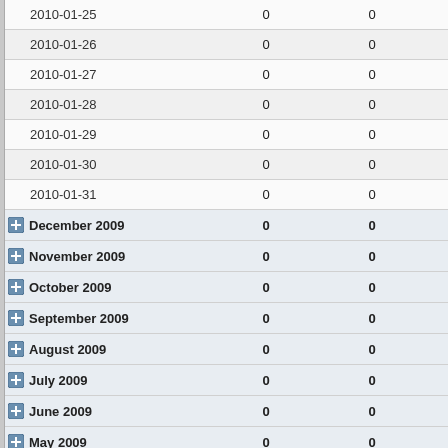| Date/Month | Col1 | Col2 | Col3 |
| --- | --- | --- | --- |
| 2010-01-25 | 0 | 0 | 0 |
| 2010-01-26 | 0 | 0 | 0 |
| 2010-01-27 | 0 | 0 | 0 |
| 2010-01-28 | 0 | 0 | 0 |
| 2010-01-29 | 0 | 0 | 0 |
| 2010-01-30 | 0 | 0 | 0 |
| 2010-01-31 | 0 | 0 | 0 |
| December 2009 | 0 | 0 | 2 |
| November 2009 | 0 | 0 | 1 |
| October 2009 | 0 | 0 | 0 |
| September 2009 | 0 | 0 | 0 |
| August 2009 | 0 | 0 | 1 |
| July 2009 | 0 | 0 | 0 |
| June 2009 | 0 | 0 | 0 |
| May 2009 | 0 | 0 | 0 |
| April 2009 | 0 | 0 | 0 |
| March 2009 | 0 | 0 | 0 |
| February 2009 | 0 | 0 | 1 |